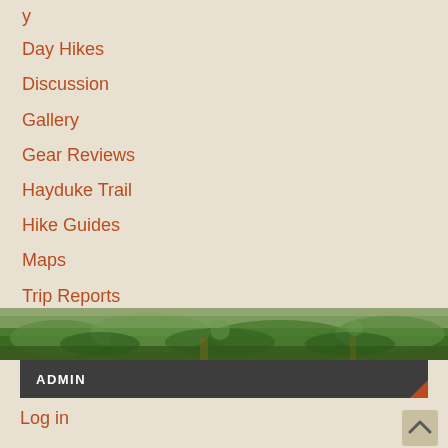Day Hikes
Discussion
Gallery
Gear Reviews
Hayduke Trail
Hike Guides
Maps
Trip Reports
Videos
[Figure (photo): A strip of green grass/vegetation photo used as a decorative divider]
ADMIN
Log in